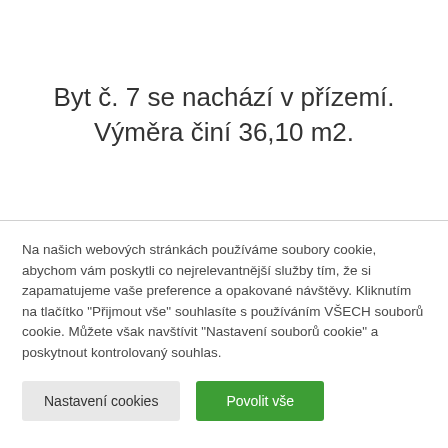Byt č. 7 se nachází v přízemí. Výměra činí 36,10 m2.
Na našich webových stránkách používáme soubory cookie, abychom vám poskytli co nejrelevantnější služby tím, že si zapamatujeme vaše preference a opakované návštěvy. Kliknutím na tlačítko "Přijmout vše" souhlasíte s používáním VŠECH souborů cookie. Můžete však navštívit "Nastavení souborů cookie" a poskytnout kontrolovaný souhlas.
Nastavení cookies | Povolit vše